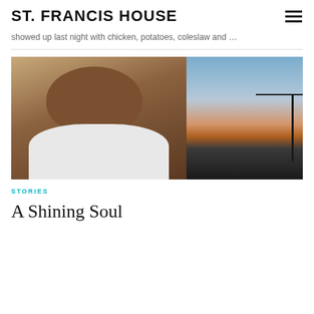ST. FRANCIS HOUSE
showed up last night with chicken, potatoes, coleslaw and …
[Figure (photo): Composite image: left half shows an elderly Black man in a white t-shirt against a beige wall; right half shows a sunset silhouette of a crane or structure against an orange-blue sky.]
STORIES
A Shining Soul